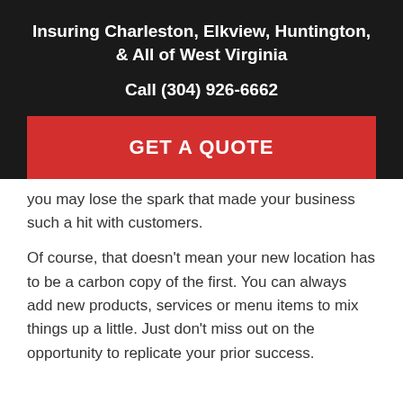Insuring Charleston, Elkview, Huntington, & All of West Virginia
Call (304) 926-6662
GET A QUOTE
you may lose the spark that made your business such a hit with customers.
Of course, that doesn't mean your new location has to be a carbon copy of the first. You can always add new products, services or menu items to mix things up a little. Just don't miss out on the opportunity to replicate your prior success.